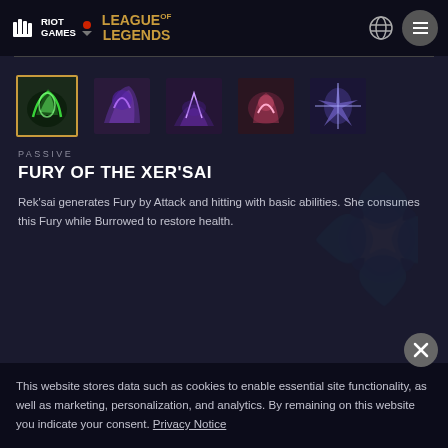Riot Games | League of Legends
[Figure (screenshot): Five ability icons for Rek'Sai champion. First icon (Passive) is selected with gold border showing green swirling energy. Others show purple/dark abilities.]
PASSIVE
FURY OF THE XER'SAI
Rek'sai generates Fury by Attack and hitting with basic abilities. She consumes this Fury while Burrowed to restore health.
This website stores data such as cookies to enable essential site functionality, as well as marketing, personalization, and analytics. By remaining on this website you indicate your consent. Privacy Notice